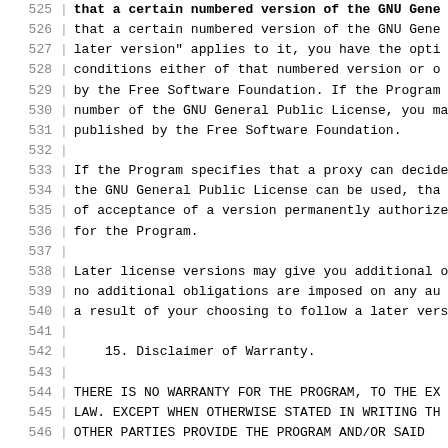525  that a certain numbered version of the GNU Gene
526  that a certain numbered version of the GNU Gene
527  later version" applies to it, you have the opti
528  conditions either of that numbered version or o
529  by the Free Software Foundation. If the Program
530  number of the GNU General Public License, you ma
531  published by the Free Software Foundation.
532
533  If the Program specifies that a proxy can decide
534  the GNU General Public License can be used, tha
535  of acceptance of a version permanently authorize
536  for the Program.
537
538  Later license versions may give you additional o
539  no additional obligations are imposed on any au
540  a result of your choosing to follow a later vers
541
542      15. Disclaimer of Warranty.
543
544  THERE IS NO WARRANTY FOR THE PROGRAM, TO THE EX
545  LAW. EXCEPT WHEN OTHERWISE STATED IN WRITING TH
546  ...